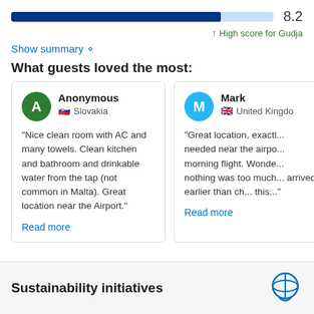[Figure (other): Score progress bar showing 8.2, approximately 80% filled in dark blue]
↑ High score for Gudja
Show summary ◇
What guests loved the most:
Anonymous
Slovakia
"Nice clean room with AC and many towels. Clean kitchen and bathroom and drinkable water from the tap (not common in Malta). Great location near the Airport."
Read more
Mark
United Kingdom
"Great location, exactly what we needed near the airport for an early morning flight. Wonde... nothing was too much... arrived earlier than ch... this..."
Read more
Sustainability initiatives